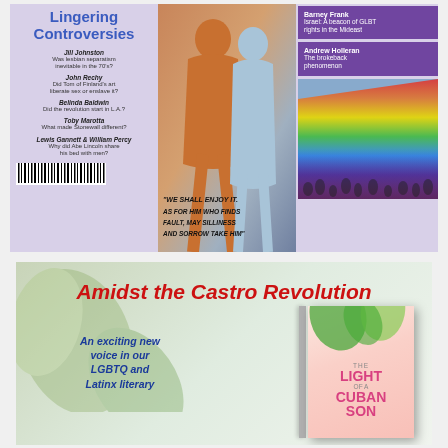[Figure (illustration): Magazine cover with title 'Lingering Controversies', contributors including Jill Johnston, John Rechy, Belinda Baldwin, Toby Marotta, Lewis Gannett & William Percy, central image of two figures with graffiti text 'We shall enjoy it as for him who finds fault, may silliness and sorrow take him', purple boxes with Barney Frank and Andrew Holleran quotes, and rainbow pride flag photo]
[Figure (illustration): Book advertisement for 'Amidst the Castro Revolution' featuring 'The Light of a Cuban Son' book cover and text 'An exciting new voice in our LGBTQ and Latinx literary']